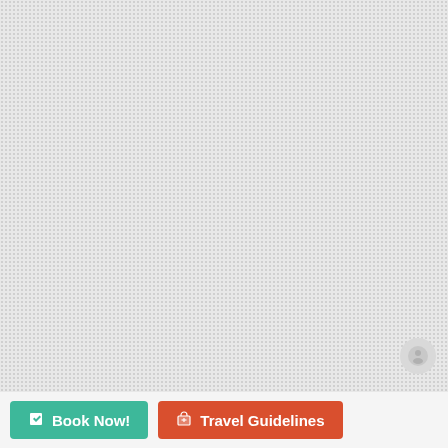[Figure (other): Large light gray textured background area occupying most of the page, with a small circular icon in the bottom-right corner]
Book Now!
Travel Guidelines